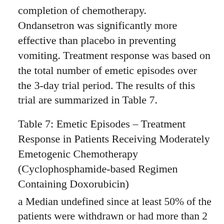completion of chemotherapy. Ondansetron was significantly more effective than placebo in preventing vomiting. Treatment response was based on the total number of emetic episodes over the 3-day trial period. The results of this trial are summarized in Table 7.
Table 7: Emetic Episodes – Treatment Response in Patients Receiving Moderately Emetogenic Chemotherapy (Cyclophosphamide-based Regimen Containing Doxorubicin)
a Median undefined since at least 50% of the patients were withdrawn or had more than 2 emetic episodes.
b Median undefined since at least 50% of